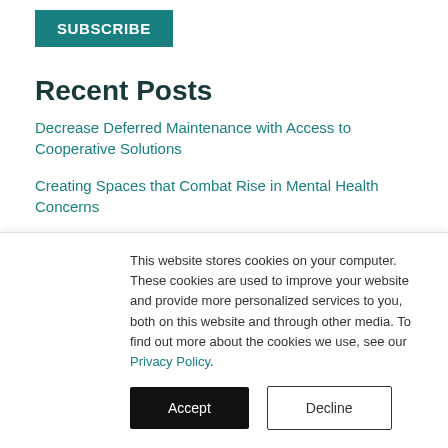SUBSCRIBE
Recent Posts
Decrease Deferred Maintenance with Access to Cooperative Solutions
Creating Spaces that Combat Rise in Mental Health Concerns
Repair, Replace, or Rent Your Cooling Equipment?
Cooperative Purchasing Provides Seamless Experience
This website stores cookies on your computer. These cookies are used to improve your website and provide more personalized services to you, both on this website and through other media. To find out more about the cookies we use, see our Privacy Policy.